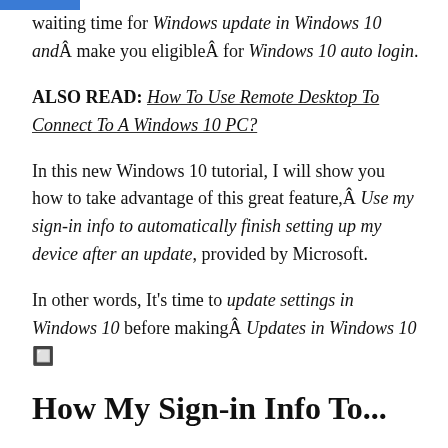waiting time for Windows update in Windows 10 andÂ make you eligibleÂ for Windows 10 auto login.
ALSO READ: How To Use Remote Desktop To Connect To A Windows 10 PC?
In this new Windows 10 tutorial, I will show you how to take advantage of this great feature,Â Use my sign-in info to automatically finish setting up my device after an update, provided by Microsoft.
In other words, It's time to update settings in Windows 10 before makingÂ Updates in Windows 10 🔲
How My Sign-in Info To...